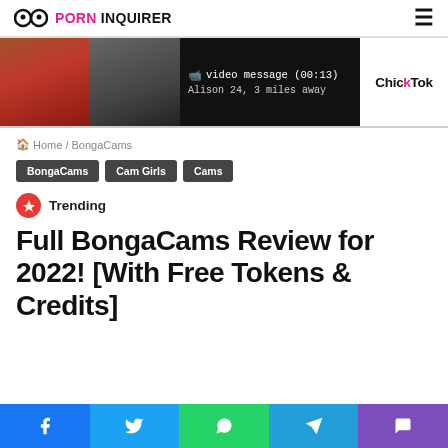PORN INQUIRER
[Figure (photo): ChickTok ad banner with two women photos, video message notification 'video message (00:13) Alison 24, 3 miles away' and ChickTok brand name]
Home / BongaCams
BongaCams
Cam Girls
Cams
Trending
Full BongaCams Review for 2022! [With Free Tokens & Credits]
Facebook  Twitter  WhatsApp  Telegram  Viber social share buttons